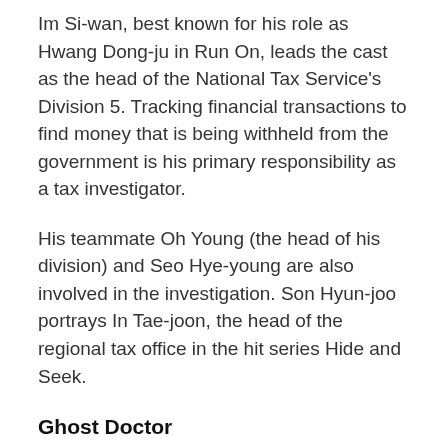Im Si-wan, best known for his role as Hwang Dong-ju in Run On, leads the cast as the head of the National Tax Service's Division 5. Tracking financial transactions to find money that is being withheld from the government is his primary responsibility as a tax investigator.
His teammate Oh Young (the head of his division) and Seo Hye-young are also involved in the investigation. Son Hyun-joo portrays In Tae-joon, the head of the regional tax office in the hit series Hide and Seek.
Ghost Doctor
And finally, what most news Singapore outlets are excited about is Ghost Doctor, a medical drama starring Rain and Kim Bum, will kick off the K-drama calendar in 2022, and it will mark the comeback of Rain to our screens after three years.